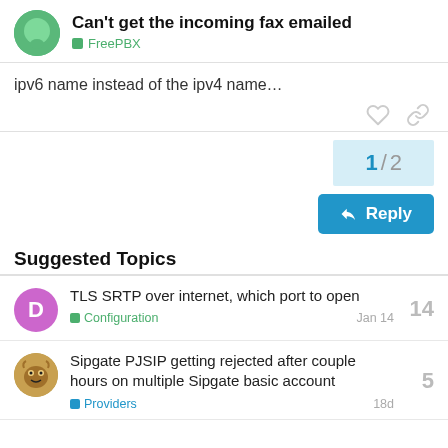Can't get the incoming fax emailed — FreePBX
ipv6 name instead of the ipv4 name…
1 / 2
Reply
Suggested Topics
TLS SRTP over internet, which port to open — Configuration — Jan 14 — 14 replies
Sipgate PJSIP getting rejected after couple hours on multiple Sipgate basic account — Providers — 18d — 5 replies